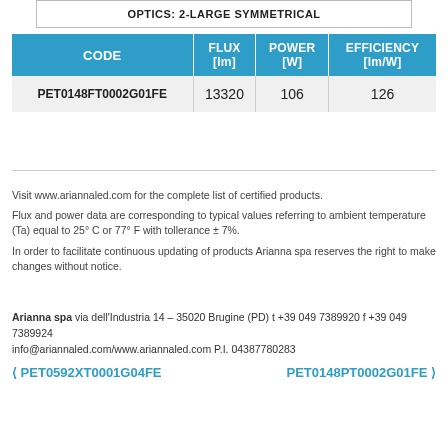OPTICS: 2-LARGE SYMMETRICAL
| CODE | FLUX [lm] | POWER [W] | EFFICIENCY [lm/W] |
| --- | --- | --- | --- |
| PET0148FT0002G01FE | 13320 | 106 | 126 |
Visit www.ariannaled.com for the complete list of certified products.
Flux and power data are corresponding to typical values referring to ambient temperature (Ta) equal to 25° C or 77° F with tollerance ± 7%.
In order to facilitate continuous updating of products Arianna spa reserves the right to make changes without notice.
Arianna spa via dell'Industria 14 – 35020 Brugine (PD) t +39 049 7389920 f +39 049 7389924
info@ariannaled.com/www.ariannaled.com P.I. 04387780283
❮ PET0592XT0001G04FE    PET0148PT0002G01FE ❯